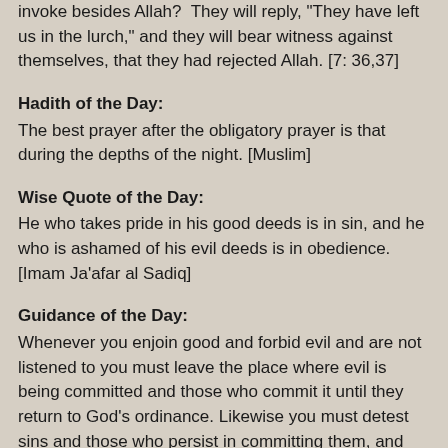invoke besides Allah?' They will reply, 'They have left us in the lurch,' and they will bear witness against themselves, that they had rejected Allah. [7: 36,37]
Hadith of the Day:
The best prayer after the obligatory prayer is that during the depths of the night. [Muslim]
Wise Quote of the Day:
He who takes pride in his good deeds is in sin, and he who is ashamed of his evil deeds is in obedience. [Imam Ja'afar al Sadiq]
Guidance of the Day:
Whenever you enjoin good and forbid evil and are not listened to you must leave the place where evil is being committed and those who commit it until they return to God's ordinance. Likewise you must detest sins and those who persist in committing them, and abhor them for the sake of God; this being a duty for all Muslims.
When you become angry because you were wronged or insulted, and this shows your anger, you may find that...